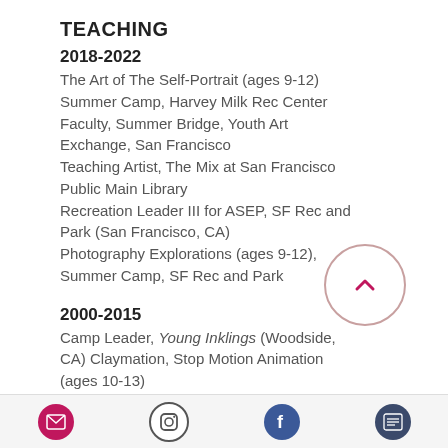TEACHING
2018-2022
The Art of The Self-Portrait (ages 9-12) Summer Camp, Harvey Milk Rec Center Faculty, Summer Bridge, Youth Art Exchange, San Francisco
Teaching Artist, The Mix at San Francisco Public Main Library
Recreation Leader III for ASEP, SF Rec and Park (San Francisco, CA)
Photography Explorations (ages 9-12), Summer Camp, SF Rec and Park
2000-2015
Camp Leader, Young Inklings (Woodside, CA) Claymation, Stop Motion Animation (ages 10-13)
Teacher, Arts Enrichment, Creative Arts Charter School (San Francisco, CA) Stop Motion Animation (ages 8-10)
Adjunct Professor, Academy of Art
[email icon] [instagram icon] [facebook icon] [list icon]